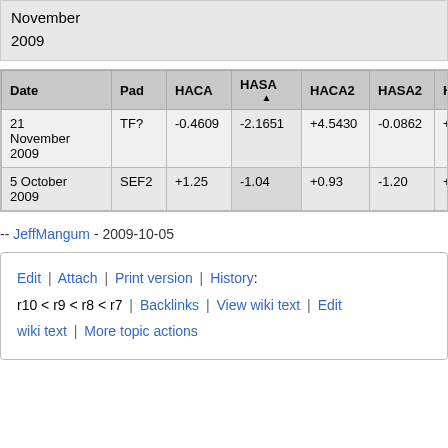November
2009
| Date | Pad | HACA | HASA ▲ | HACA2 | HASA2 | HECA |
| --- | --- | --- | --- | --- | --- | --- |
| 21 November 2009 | TF? | -0.4609 | -2.1651 | +4.5430 | -0.0862 | +2.00 |
| 5 October 2009 | SEF2 | +1.25 | -1.04 | +0.93 | -1.20 | +0.27 |
-- JeffMangum - 2009-10-05
Edit | Attach | Print version | History:
r10 < r9 < r8 < r7 | Backlinks | View wiki text | Edit wiki text | More topic actions